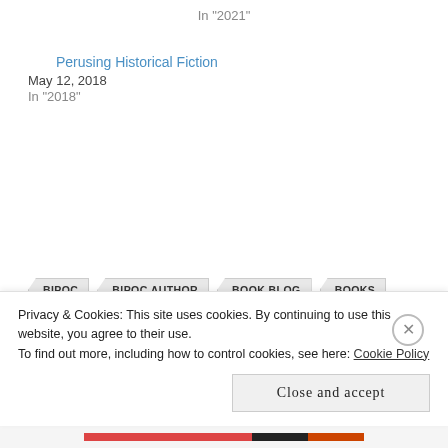In "2021"
Perusing Historical Fiction
May 12, 2018
In "2018"
BIPOC
BIPOC AUTHOR
BOOK BLOG
BOOKS
FIRST NATION WRITERS
HISTORY
INDIGENOUS
INDIGENOUS WRITERS
READING
REGINA
RESIDENTIAL SCHOOLS
SASKATCHEWAN AUTHORS
SASKATCHEWAN BOOKS
SASKATCHEWAN HISTORY
Privacy & Cookies: This site uses cookies. By continuing to use this website, you agree to their use.
To find out more, including how to control cookies, see here: Cookie Policy
Close and accept